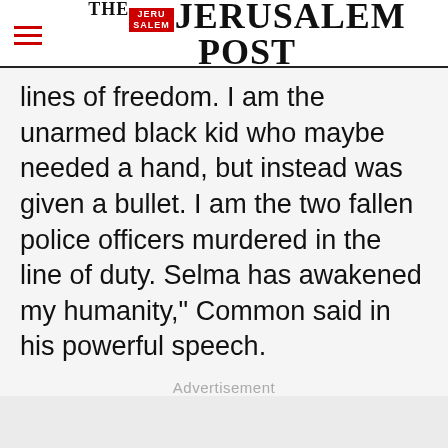THE JERUSALEM POST
lines of freedom. I am the unarmed black kid who maybe needed a hand, but instead was given a bullet. I am the two fallen police officers murdered in the line of duty. Selma has awakened my humanity,” Common said in his powerful speech.
The theme applied to television as well, where Transparent swept the Best Comedy and Best Actor in a Comedy categories. The Amazon series
Advertisement